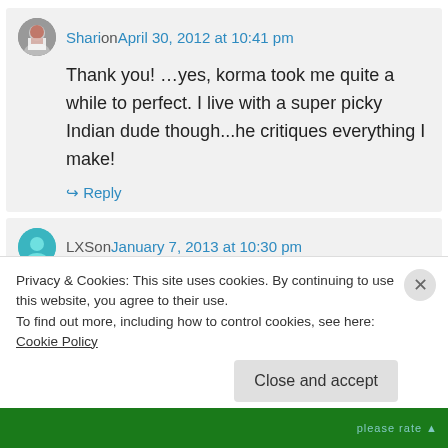Shari on April 30, 2012 at 10:41 pm
Thank you! …yes, korma took me quite a while to perfect. I live with a super picky Indian dude though...he critiques everything I make!
↳ Reply
LXS on January 7, 2013 at 10:30 pm
Privacy & Cookies: This site uses cookies. By continuing to use this website, you agree to their use.
To find out more, including how to control cookies, see here: Cookie Policy
Close and accept